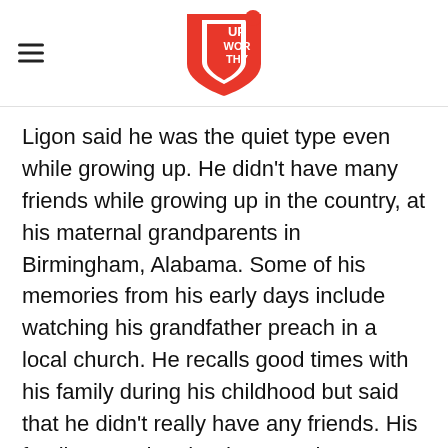Upworthy logo and navigation
Ligon said he was the quiet type even while growing up. He didn't have many friends while growing up in the country, at his maternal grandparents in Birmingham, Alabama. Some of his memories from his early days include watching his grandfather preach in a local church. He recalls good times with his family during his childhood but said that he didn't really have any friends. His family moved to the deep south to Philadelphia when he was 13 and he found it hard in school and dropped out. He eventually learned to read and write in prison. "I didn't do too much hanging out, I